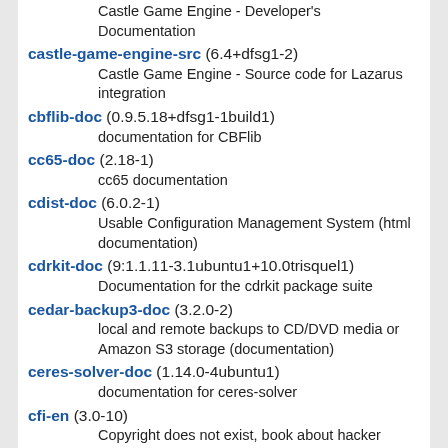castle-game-engine-src (6.4+dfsg1-2)
    Castle Game Engine - Source code for Lazarus integration
cbflib-doc (0.9.5.18+dfsg1-1build1)
    documentation for CBFlib
cc65-doc (2.18-1)
    cc65 documentation
cdist-doc (6.0.2-1)
    Usable Configuration Management System (html documentation)
cdrkit-doc (9:1.1.11-3.1ubuntu1+10.0trisquel1)
    Documentation for the cdrkit package suite
cedar-backup3-doc (3.2.0-2)
    local and remote backups to CD/DVD media or Amazon S3 storage (documentation)
ceres-solver-doc (1.14.0-4ubuntu1)
    documentation for ceres-solver
cfi-en (3.0-10)
    Copyright does not exist, book about hacker culture
cfi-sv (3.0-10)
    Copyright finns inte, book about hacker culture
cflow-doc (1:1.6-4)
    control flow analyzer for C source files (documentation)